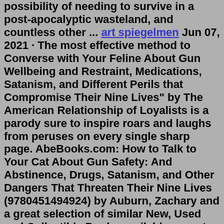possibility of needing to survive in a post-apocalyptic wasteland, and countless other ... art spiegelmen Jun 07, 2021 · The most effective method to Converse with Your Feline About Gun Wellbeing and Restraint, Medications, Satanism, and Different Perils that Compromise Their Nine Lives" by The American Relationship of Loyalists is a parody sure to inspire roars and laughs from peruses on every single sharp page. AbeBooks.com: How to Talk to Your Cat About Gun Safety: And Abstinence, Drugs, Satanism, and Other Dangers That Threaten Their Nine Lives (9780451494924) by Auburn, Zachary and a great selection of similar New, Used and Collectible Books available now at great prices.See retailer for details. How to Talk to Your Cat About Gun Safety. And Abstinence, Drugs, Satanism, and Other Dangers That Threaten Their Nine Lives. Written by: Zachary Auburn. Read by: Oliver Wyman. 3 Hours and 9 Minutes Imprint: Random House Audio Genre: Humor - Form - Parodies Release Date: May 21, 2019. Are you listening Fellow Purrtriots? It's high time we